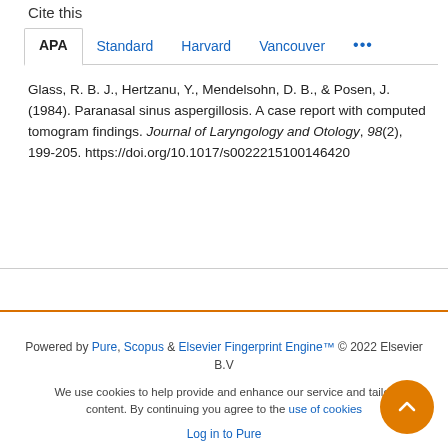Cite this
APA  Standard  Harvard  Vancouver  ...
Glass, R. B. J., Hertzanu, Y., Mendelsohn, D. B., & Posen, J. (1984). Paranasal sinus aspergillosis. A case report with computed tomogram findings. Journal of Laryngology and Otology, 98(2), 199-205. https://doi.org/10.1017/s0022215100146420
Powered by Pure, Scopus & Elsevier Fingerprint Engine™ © 2022 Elsevier B.V
We use cookies to help provide and enhance our service and tailor content. By continuing you agree to the use of cookies
Log in to Pure